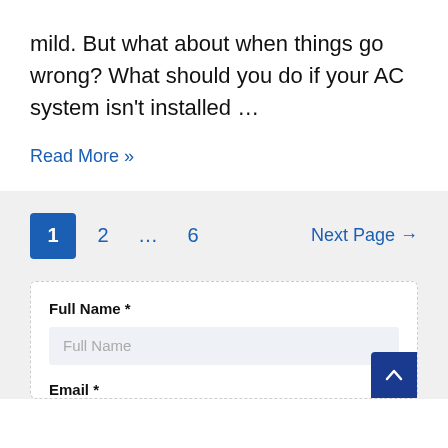mild. But what about when things go wrong? What should you do if your AC system isn't installed …
Read More »
1  2  …  6  Next Page →
Full Name *
Full Name
Email *